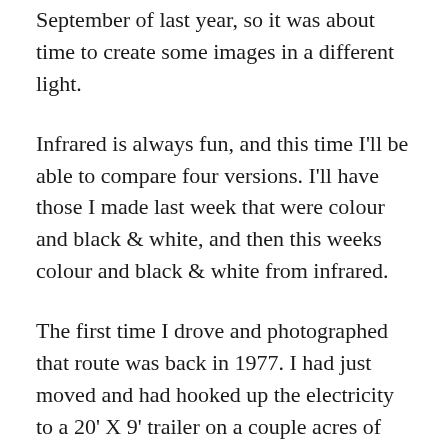September of last year, so it was about time to create some images in a different light.
Infrared is always fun, and this time I'll be able to compare four versions. I'll have those I made last week that were colour and black & white, and then this weeks colour and black & white from infrared.
The first time I drove and photographed that route was back in 1977. I had just moved and had hooked up the electricity to a 20' X 9' trailer on a couple acres of heavily wooded land, I didn't know anyone and was curious to see what I could find along the dusty dirt road.
I loaded my Pentax Spotmatic II with a roll of Ilford black and white film, jumped in my yellow 1962 International Scout 4X4 that I had recently changed the California licence plates to British Columbia plates, and slowly drove